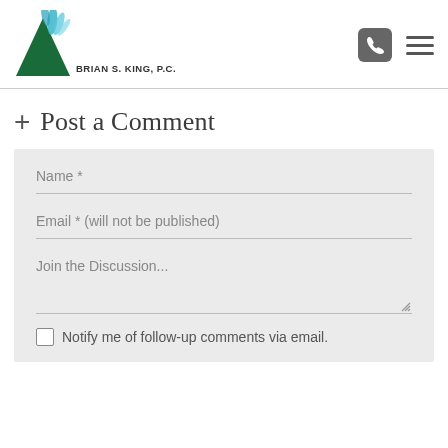[Figure (logo): Brian S. King, P.C. law firm logo with green triangle and blue feather/leaves motif]
+ Post a Comment
Name *
Email * (will not be published)
Join the Discussion...
Notify me of follow-up comments via email.